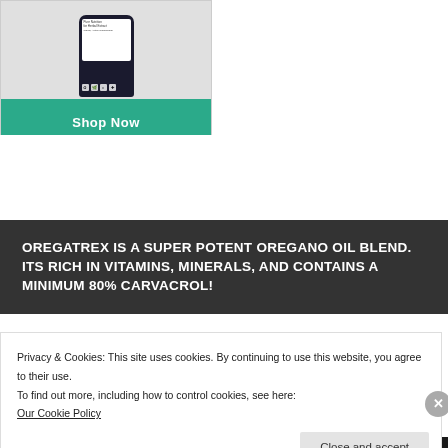[Figure (photo): A bottle of herbal extract supplement (dark bottle with white label) on a light surface, inside a bordered product card]
Shop Now
OREGATREX IS A SUPER POTENT OREGANO OIL BLEND. ITS RICH IN VITAMINS, MINERALS, AND CONTAINS A MINIMUM 80% CARVACROL!
Privacy & Cookies: This site uses cookies. By continuing to use this website, you agree to their use.
To find out more, including how to control cookies, see here:
Our Cookie Policy
Close and accept